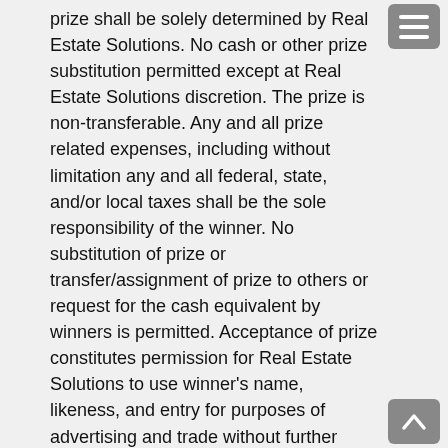prize shall be solely determined by Real Estate Solutions. No cash or other prize substitution permitted except at Real Estate Solutions discretion. The prize is non-transferable. Any and all prize related expenses, including without limitation any and all federal, state, and/or local taxes shall be the sole responsibility of the winner. No substitution of prize or transfer/assignment of prize to others or request for the cash equivalent by winners is permitted. Acceptance of prize constitutes permission for Real Estate Solutions to use winner’s name, likeness, and entry for purposes of advertising and trade without further compensation, unless prohibited by law.
Odds: The odds of winning depend on the number of eligible entries received.
Winner selection and notification: Winners of the Sweepstakes/Giveaway will be selected in a random drawing under the supervision of Real Estate Solutions. Winners will be notified via private